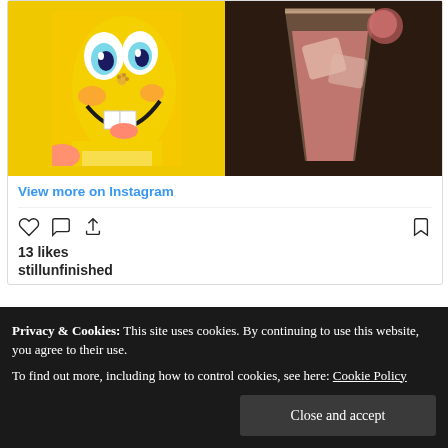[Figure (photo): Instagram post showing two side-by-side images: left side shows a SpongeBob SquarePants character illustration (yellow, big eyes), right side shows a pink drink with ice in a glass]
View more on Instagram
13 likes
stillunfinished
Privacy & Cookies: This site uses cookies. By continuing to use this website, you agree to their use.
To find out more, including how to control cookies, see here: Cookie Policy
Close and accept